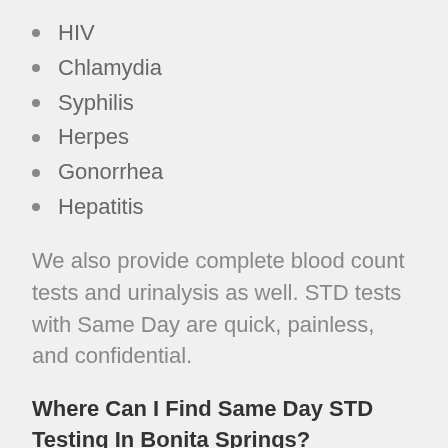HIV
Chlamydia
Syphilis
Herpes
Gonorrhea
Hepatitis
We also provide complete blood count tests and urinalysis as well. STD tests with Same Day are quick, painless, and confidential.
Where Can I Find Same Day STD Testing In Bonita Springs?
Same Day has thousands of testing